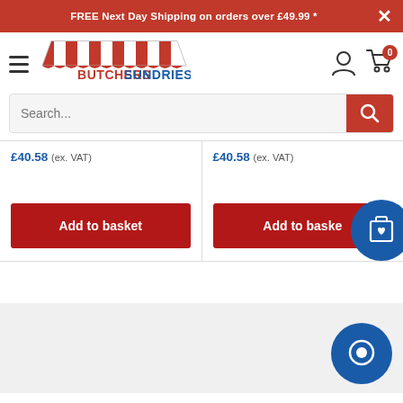FREE Next Day Shipping on orders over £49.99 *
[Figure (logo): Butchers Sundries logo with striped awning graphic and red/blue text]
Search...
£40.58 (ex. VAT)
£40.58 (ex. VAT)
Add to basket
Add to basket